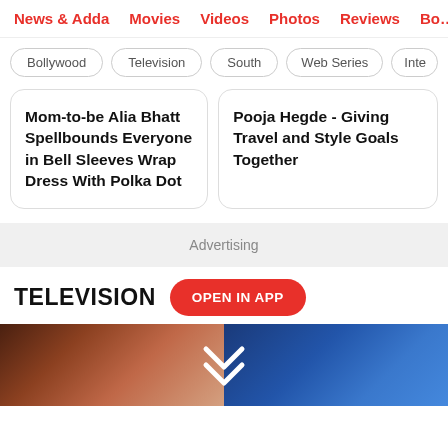News & Adda   Movies   Videos   Photos   Reviews   Box
Bollywood
Television
South
Web Series
Inte
Mom-to-be Alia Bhatt Spellbounds Everyone in Bell Sleeves Wrap Dress With Polka Dot
Pooja Hegde - Giving Travel and Style Goals Together
Advertising
TELEVISION
OPEN IN APP
[Figure (photo): Two women with brown hair, one on left against grey/warm background, one on right against blue background, with white chevron/arrow icons in the center]